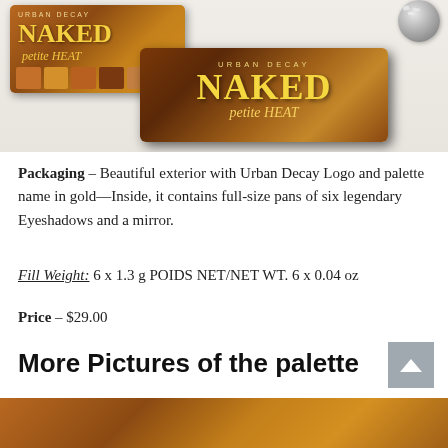[Figure (photo): Urban Decay Naked Petite Heat eyeshadow palette boxes on a white surface. Two boxes visible — one upright showing the palette interior with eyeshadow pans, another laying flat showing the gold 'URBAN DECAY NAKED petite HEAT' branding on a warm amber/brown background. A disco ball is partially visible in the top right corner.]
Packaging – Beautiful exterior with Urban Decay Logo and palette name in gold—Inside, it contains full-size pans of six legendary Eyeshadows and a mirror.
Fill Weight: 6 x 1.3 g POIDS NET/NET WT. 6 x 0.04 oz
Price – $29.00
More Pictures of the palette
[Figure (photo): Partial view of Urban Decay Naked Petite Heat palette bottom edge, warm amber/brown color visible at bottom of page.]